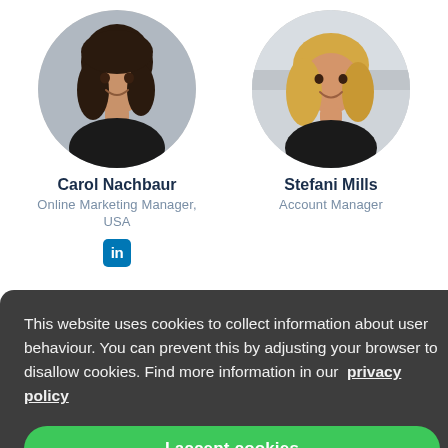[Figure (photo): Circular profile photo of Carol Nachbaur, a woman with dark hair wearing a black outfit]
[Figure (photo): Circular profile photo of Stefani Mills, a woman with blonde hair wearing a black outfit in an office setting]
Carol Nachbaur
Online Marketing Manager, USA
[Figure (logo): LinkedIn icon - blue square with 'in' text]
Stefani Mills
Account Manager
This website uses cookies to collect information about user behaviour. You can prevent this by adjusting your browser to disallow cookies. Find more information in our privacy policy
I accept cookies
Partner Coordinator
Marketing Assistant, USA